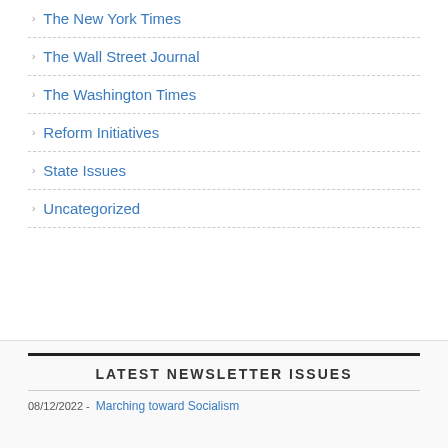The New York Times
The Wall Street Journal
The Washington Times
Reform Initiatives
State Issues
Uncategorized
LATEST NEWSLETTER ISSUES
08/12/2022 - Marching toward Socialism